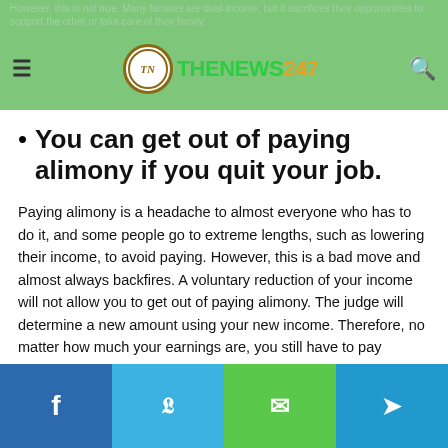TheNews247 — navigation header with logo and search icon
You can get out of paying alimony if you quit your job.
Paying alimony is a headache to almost everyone who has to do it, and some people go to extreme lengths, such as lowering their income, to avoid paying. However, this is a bad move and almost always backfires. A voluntary reduction of your income will not allow you to get out of paying alimony. The judge will determine a new amount using your new income. Therefore, no matter how much your earnings are, you still have to pay alimony one way or another.
Social share bar: Facebook, Twitter, WhatsApp, Telegram